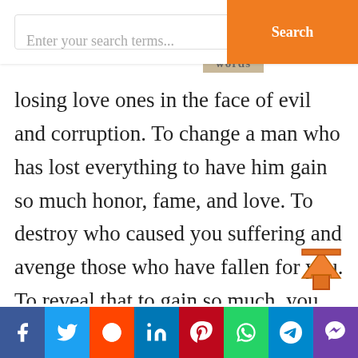Enter your search terms... [Search]
losing love ones in the face of evil and corruption. To change a man who has lost everything to have him gain so much honor, fame, and love. To destroy who caused you suffering and avenge those who have fallen for you. To reveal that to gain so much, you must lose everything you used to hold so dear. Everything is avenged when a hero holds The Mask of Zorro.
Throughout the movie, they’re multiple archetypes presented as scenes move on
Facebook | Twitter | Reddit | LinkedIn | Pinterest | WhatsApp | Telegram | Viber